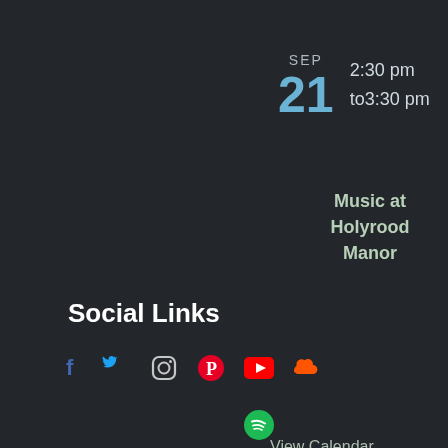SEP
21
2:30 pm
to3:30 pm
Music at Holyrood Manor
View Calendar
Social Links
First name
[Figure (infographic): Row of social media icons: Facebook (blue), Twitter (light blue), Instagram (grey), Pinterest (red), YouTube (red), SoundCloud (orange), and Spotify (green) circle icon below]